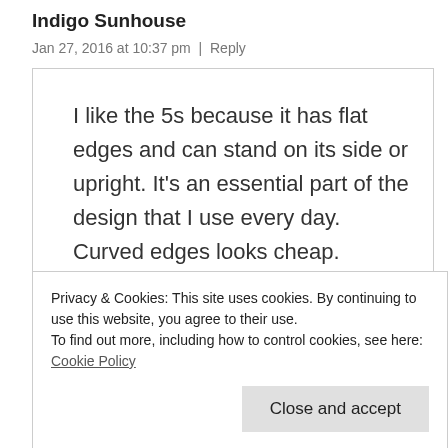Indigo Sunhouse
Jan 27, 2016 at 10:37 pm  |  Reply
I like the 5s because it has flat edges and can stand on its side or upright. It’s an essential part of the design that I use every day. Curved edges looks cheap.
I assume Apple made it curved partly to look smaller than they actually are
Privacy & Cookies: This site uses cookies. By continuing to use this website, you agree to their use.
To find out more, including how to control cookies, see here: Cookie Policy
Jan 28, 2016 at 12:43 am  |  Reply